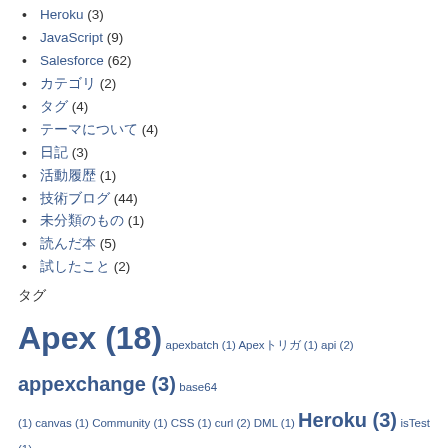Heroku (3)
JavaScript (9)
Salesforce (62)
カテゴリ (2)
タグ (4)
テーマについて (4)
日記 (3)
活動履歴 (1)
技術ブログ (44)
未分類のもの (1)
読んだ本 (5)
試したこと (2)
タグ
[Figure (other): Tag cloud with various technology tags including Apex (18), apexbatch (1), Apexトリガ (1), api (2), appexchange (3), base64 (1), canvas (1), Community (1), CSS (1), curl (2), DML (1), Heroku (3), isTest (1), javascript (1), jenkins (1), JSON (1), line (2), LIst<List> (1), LWC (21), mail (1)]